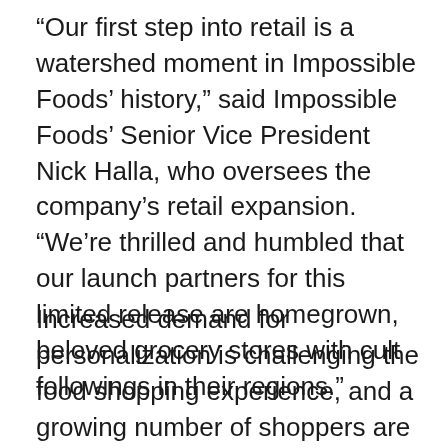“Our first step into retail is a watershed moment in Impossible Foods’ history,” said Impossible Foods’ Senior Vice President Nick Halla, who oversees the company’s retail expansion. “We’re thrilled and humbled that our launch partners for this limited release are homegrown, beloved grocery stores with cult followings in their regions.”
Increased demand for personalization is challenging the food shopping experience, and a growing number of shoppers are turning to plant-based